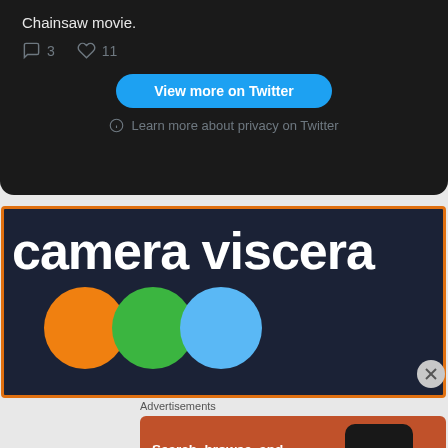Chainsaw movie.
3   11
View more on Twitter
Learn more about privacy on Twitter
[Figure (screenshot): Camera Viscera website banner with dark navy background, orange border, large white bold text reading 'camera viscera', and three overlapping circles in orange, green, and blue at the bottom.]
Advertisements
[Figure (screenshot): DuckDuckGo advertisement on orange/brown background. Text reads 'Search, browse, and email with more privacy. All in One Free App'. Shows a phone with DuckDuckGo logo and wordmark.]